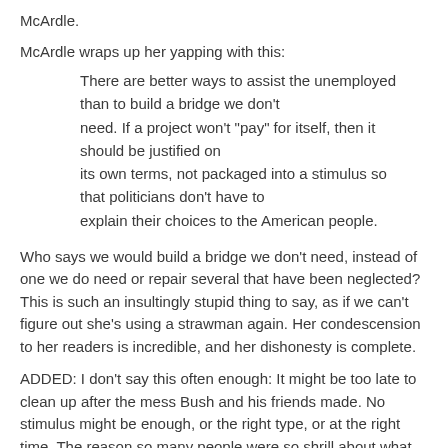McArdle.
McArdle wraps up her yapping with this:
There are better ways to assist the unemployed than to build a bridge we don't need. If a project won't "pay" for itself, then it should be justified on its own terms, not packaged into a stimulus so that politicians don't have to explain their choices to the American people.
Who says we would build a bridge we don't need, instead of one we do need or repair several that have been neglected? This is such an insultingly stupid thing to say, as if we can't figure out she's using a strawman again. Her condescension to her readers is incredible, and her dishonesty is complete.
ADDED: I don't say this often enough: It might be too late to clean up after the mess Bush and his friends made. No stimulus might be enough, or the right type, or at the right time. The reason so many people were so shrill about what